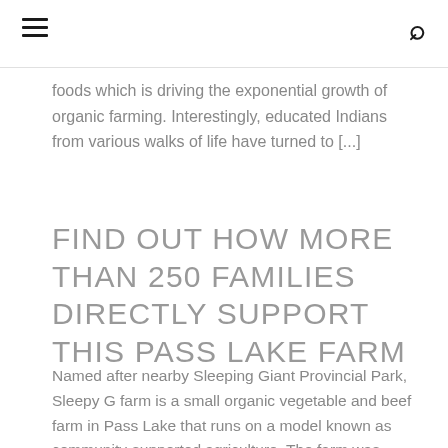foods which is driving the exponential growth of organic farming. Interestingly, educated Indians from various walks of life have turned to [...]
FIND OUT HOW MORE THAN 250 FAMILIES DIRECTLY SUPPORT THIS PASS LAKE FARM
Named after nearby Sleeping Giant Provincial Park, Sleepy G farm is a small organic vegetable and beef farm in Pass Lake that runs on a model known as community-supported agriculture. The farm was brought to [...]